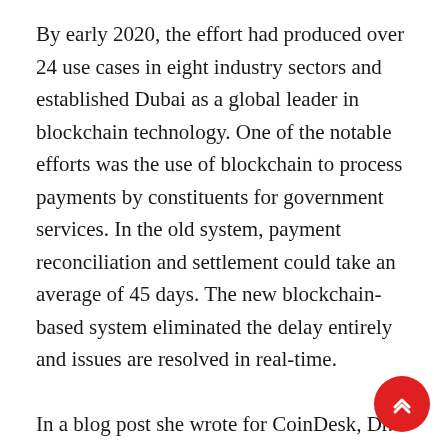By early 2020, the effort had produced over 24 use cases in eight industry sectors and established Dubai as a global leader in blockchain technology. One of the notable efforts was the use of blockchain to process payments by constituents for government services. In the old system, payment reconciliation and settlement could take an average of 45 days. The new blockchain-based system eliminated the delay entirely and issues are resolved in real-time.
In a blog post she wrote for CoinDesk, Dr. Aisha Bin Bishr, director general at Smart Dubai Office, said, “Dubai’s adoption of blockchain technology at a city-wide scale is a testament to its commitment to positively transform government from service provider to service enabl…